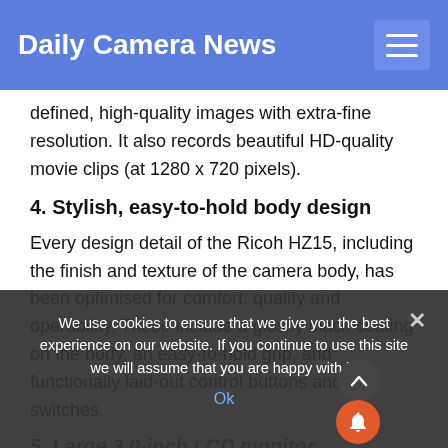Daily Camera News
defined, high-quality images with extra-fine resolution. It also records beautiful HD-quality movie clips (at 1280 x 720 pixels).
4. Stylish, easy-to-hold body design
Every design detail of the Ricoh HZ15, including the finish and texture of the camera body, has been optimised for comfort, quality and operability. These include a glossy black coating on the body, an easy-to-hold grip, and functionally laid-out control buttons and switches.
5. Large 3.0-inch LCD monitor
The HZ15 features a 3.0-inch LCD monitor with approximately 230,000 dots. This large monitor
We use cookies to ensure that we give you the best experience on our website. If you continue to use this site we will assume that you are happy with it.